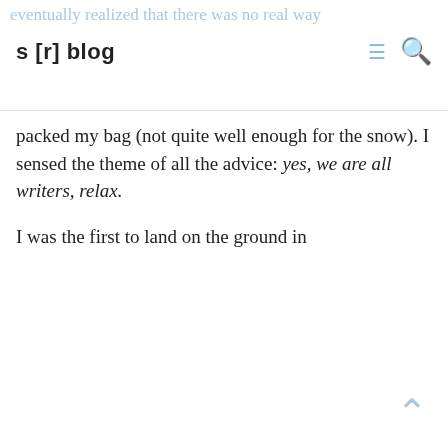s [r] blog
packed my bag (not quite well enough for the snow). I sensed the theme of all the advice: yes, we are all writers, relax.

I was the first to land on the ground in